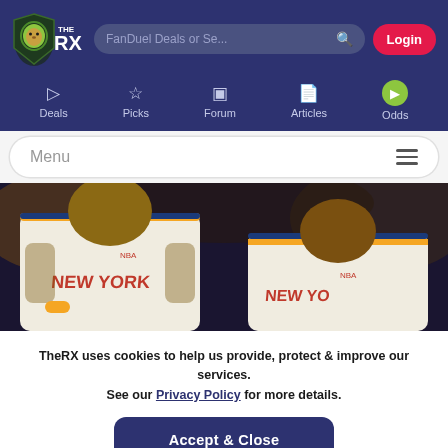TheRX - FanDuel Deals or Se... Login
[Figure (logo): TheRX logo with lion head and THE RX text in white on dark navy background]
[Figure (screenshot): Navigation bar with Deals, Picks, Forum, Articles, Odds icons]
[Figure (photo): Two New York Knicks NBA basketball players in white jerseys with orange and blue trim standing side by side]
TheRX uses cookies to help us provide, protect & improve our services. See our Privacy Policy for more details.
Accept & Close